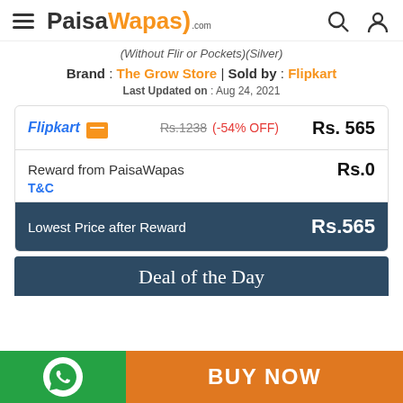PaisaWapas.com
(Without Flir or Pockets)(Silver)
Brand : The Grow Store | Sold by : Flipkart
Last Updated on : Aug 24, 2021
| Store | Original Price | Discount | Price |
| --- | --- | --- | --- |
| Flipkart | Rs.1238 | (-54% OFF) | Rs. 565 |
| Reward from PaisaWapas |  |  | Rs.0 |
| Lowest Price after Reward |  |  | Rs.565 |
Deal of the Day
BUY NOW